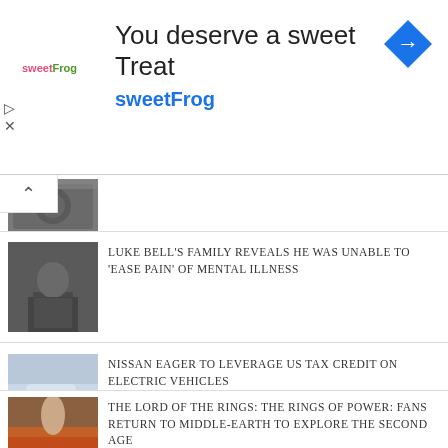[Figure (screenshot): Advertisement banner for sweetFrog frozen yogurt. Contains sweetFrog logo, text 'You deserve a sweet Treat', brand name 'sweetFrog' in blue, and a blue diamond navigation icon on the right.]
[Figure (photo): Thumbnail photo of money/dollar bills in grayscale, partially visible at top]
[Figure (photo): Black and white photo of a man (Luke Bell) leaning against a wall]
LUKE BELL'S FAMILY REVEALS HE WAS UNABLE TO 'EASE PAIN' OF MENTAL ILLNESS
[Figure (photo): Photo of a white Nissan electric vehicle]
NISSAN EAGER TO LEVERAGE US TAX CREDIT ON ELECTRIC VEHICLES
[Figure (photo): Fantasy/epic movie scene with a woman in armor amid fire and explosions]
THE LORD OF THE RINGS: THE RINGS OF POWER: FANS RETURN TO MIDDLE-EARTH TO EXPLORE THE SECOND AGE